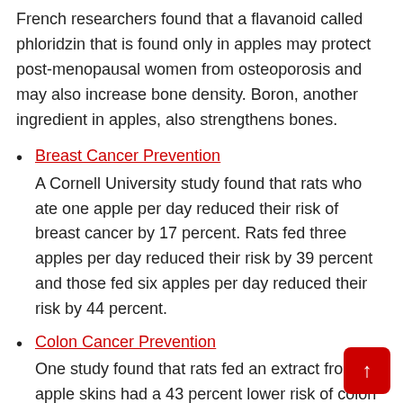French researchers found that a flavanoid called phloridzin that is found only in apples may protect post-menopausal women from osteoporosis and may also increase bone density. Boron, another ingredient in apples, also strengthens bones.
Breast Cancer Prevention
A Cornell University study found that rats who ate one apple per day reduced their risk of breast cancer by 17 percent. Rats fed three apples per day reduced their risk by 39 percent and those fed six apples per day reduced their risk by 44 percent.
Colon Cancer Prevention
One study found that rats fed an extract from apple skins had a 43 percent lower risk of colon cancer. Other research shows that the pectin in apples